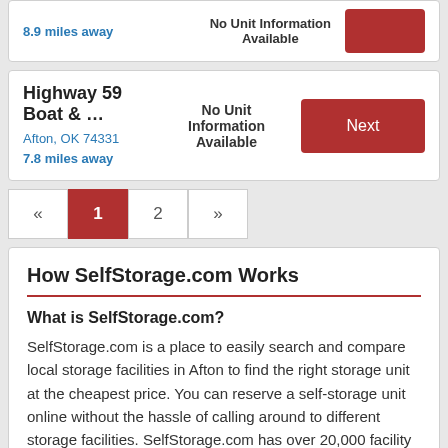8.9 miles away | No Unit Information Available
Highway 59 Boat & ...
Afton, OK 74331
7.8 miles away
No Unit Information Available
« 1 2 »
How SelfStorage.com Works
What is SelfStorage.com?
SelfStorage.com is a place to easily search and compare local storage facilities in Afton to find the right storage unit at the cheapest price. You can reserve a self-storage unit online without the hassle of calling around to different storage facilities. SelfStorage.com has over 20,000 facility listings in all 50 states, providing one of the largest selection of